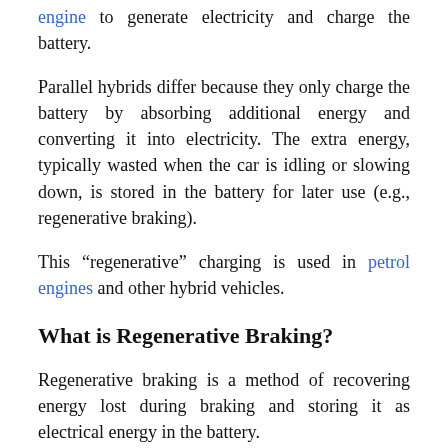engine to generate electricity and charge the battery.
Parallel hybrids differ because they only charge the battery by absorbing additional energy and converting it into electricity. The extra energy, typically wasted when the car is idling or slowing down, is stored in the battery for later use (e.g., regenerative braking).
This “regenerative” charging is used in petrol engines and other hybrid vehicles.
What is Regenerative Braking?
Regenerative braking is a method of recovering energy lost during braking and storing it as electrical energy in the battery.